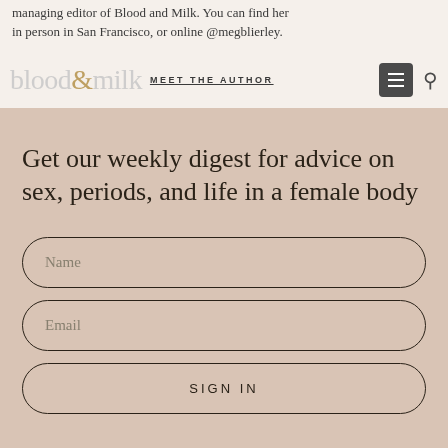managing editor of Blood and Milk. You can find her in person in San Francisco, or online @megblierley.
blood & milk  MEET THE AUTHOR
Get our weekly digest for advice on sex, periods, and life in a female body